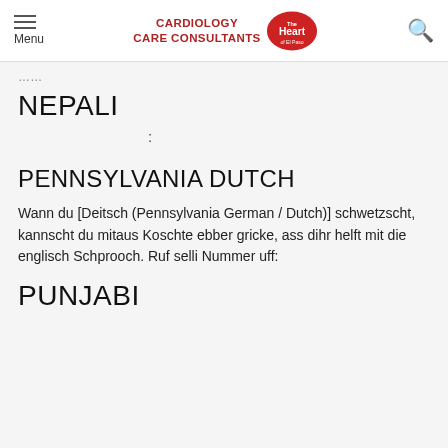Menu | Cardiology Care Consultants | The Heart of El Paso
…
NEPALI
:
PENNSYLVANIA DUTCH
Wann du [Deitsch (Pennsylvania German / Dutch)] schwetzscht, kannscht du mitaus Koschte ebber gricke, ass dihr helft mit die englisch Schprooch. Ruf selli Nummer uff:
PUNJABI